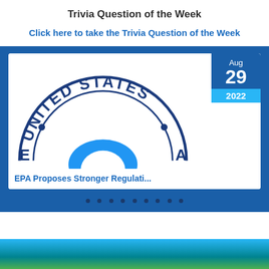Trivia Question of the Week
Click here to take the Trivia Question of the Week
[Figure (screenshot): EPA seal/stamp showing 'UNITED STATES' text in circular seal, blue and white, with a blue arc/dome shape in the center bottom. Date badge shows Aug 29 2022 in upper right.]
EPA Proposes Stronger Regulati...
[Figure (photo): Bottom strip showing ocean/water scene with blue water and greenery]